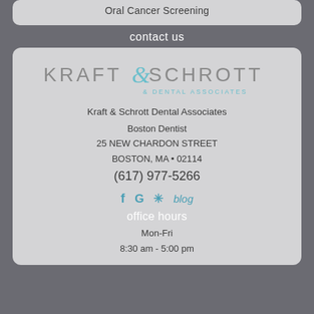Oral Cancer Screening
contact us
[Figure (logo): Kraft & Schrott Dental Associates logo with stylized ampersand in teal]
Kraft & Schrott Dental Associates
Boston Dentist
25 NEW CHARDON STREET
BOSTON, MA • 02114
(617) 977-5266
f G * blog
office hours
Mon-Fri
8:30 am - 5:00 pm